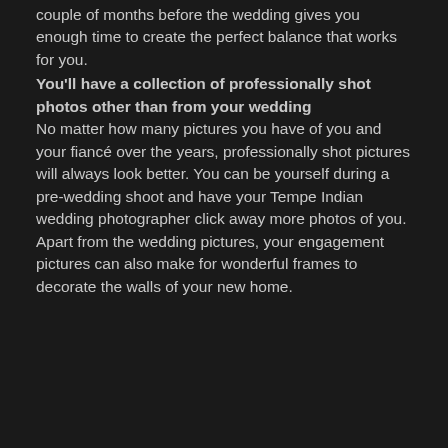couple of months before the wedding gives you enough time to create the perfect balance that works for you.
You'll have a collection of professionally shot photos other than from your wedding
No matter how many pictures you have of you and your fiancé over the years, professionally shot pictures will always look better. You can be yourself during a pre-wedding shoot and have your Tempe Indian wedding photographer click away more photos of you. Apart from the wedding pictures, your engagement pictures can also make for wonderful frames to decorate the walls of your new home.